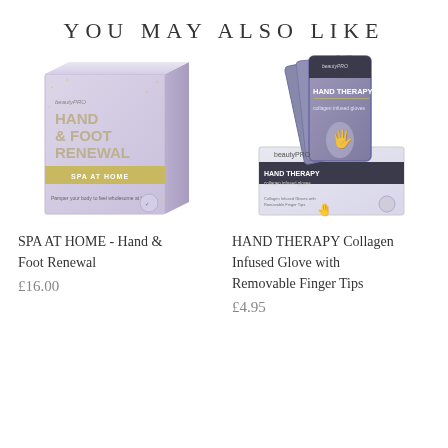YOU MAY ALSO LIKE
[Figure (photo): BeautyPro HAND & FOOT RENEWAL SPA AT HOME product box in lavender/purple and gold packaging]
SPA AT HOME - Hand & Foot Renewal
£16.00
[Figure (photo): BeautyPro HAND THERAPY Collagen Infused Glove with Removable Finger Tips product box in purple/grey packaging showing multiple glove packets]
HAND THERAPY Collagen Infused Glove with Removable Finger Tips
£4.95